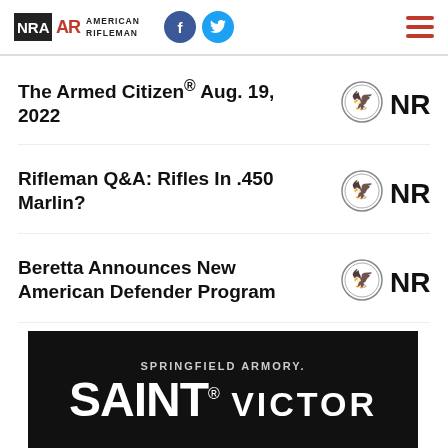NRA American Rifleman
The Armed Citizen® Aug. 19, 2022
[Figure (logo): NRA eagle logo badge next to 'NRA' text]
Rifleman Q&A: Rifles In .450 Marlin?
[Figure (logo): NRA eagle logo badge next to 'NRA' text]
Beretta Announces New American Defender Program
[Figure (logo): NRA eagle logo badge next to 'NRA' text]
[Figure (advertisement): Springfield Armory SAINT VICTOR advertisement on black background]